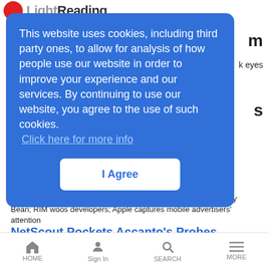[Figure (screenshot): LightReading website logo partially visible at top left — red circle icon and grey text]
rm
k eyes
s
This website uses cookies, including third party ones, to allow for analysis of how people use our website in order to improve your experience and our services. By continuing to use our website, you agree to the use of such cookies. Click here for more info
I Agree
LR Mobile News Analysis | 7/20/2012
Also: Microsoft slides in Windows 8 wait; HTC offers carriers Jelly Bean; RIM woos developers; Apple captures mobile advertisers' attention
NetScout Pockets Accanto's Probes
News Analysis | 7/20/2012
NetScout buys an Italian slice of Accanto's service provider IT (SPIT)
HOME   Sign In   SEARCH   MORE